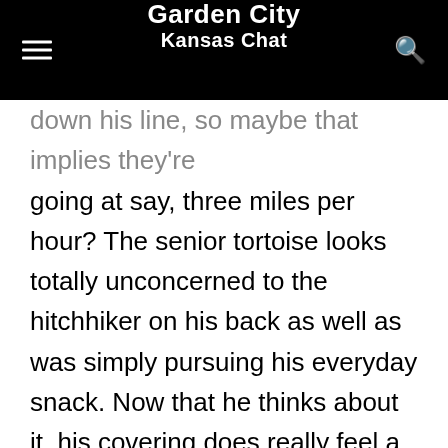Garden City Kansas Chat
going at say, three miles per hour? The senior tortoise looks totally unconcerned to the hitchhiker on his back as well as was simply pursuing his everyday snack. Now that he thinks about it, his covering does really feel a little larger than a lot of days. Regrettable he can hardly crane his neck around to see the party that is taking place ideal behind him.